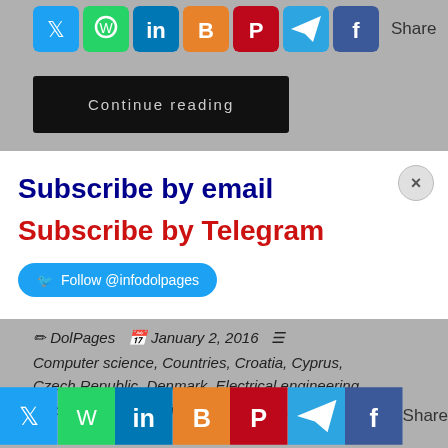[Figure (infographic): Social media share icons row: Twitter, WhatsApp, LinkedIn, Blogger, Pinterest, Telegram, Facebook, followed by 'Share' text]
Continue reading
Subscribe by email
Subscribe by Telegram
Follow @infodolpages
DolPages   January 2, 2016
Computer science, Countries, Croatia, Cyprus, Czech Republic, Denmark, Electrical engineering, Electronics Engineering, Engineering, Estonia, ...fellowships,
[Figure (infographic): Bottom social media share icons row: Twitter, WhatsApp, LinkedIn, Blogger, Pinterest, Telegram, Facebook, Share]